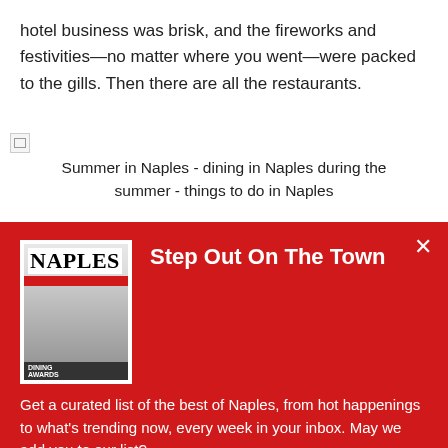hotel business was brisk, and the fireworks and festivities—no matter where you went—were packed to the gills. Then there are all the restaurants.
[Figure (photo): Broken image placeholder for a photo captioned: Summer in Naples - dining in Naples during the summer - things to do in Naples]
Summer in Naples - dining in Naples during the summer - things to do in Naples
[Figure (illustration): Red promotional panel with Naples magazine cover, title 'Step Out On The Town', body text about curated list of best of Naples, and a 'Sign Me Up!' button]
Step Out On The Town
Get a curated list of the best of Naples, from hot happenings to what's trending now, every week in your inbox. May we add you to our list?
Sign Me Up!